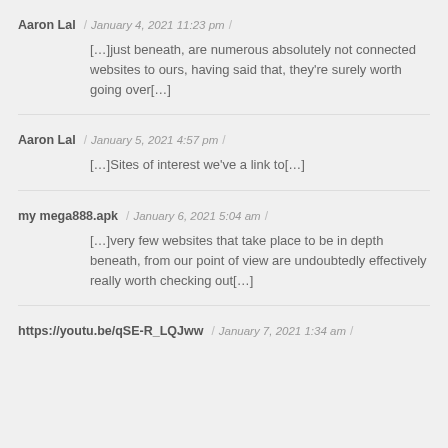Aaron Lal / January 4, 2021 11:23 pm /
[…]just beneath, are numerous absolutely not connected websites to ours, having said that, they're surely worth going over[…]
Aaron Lal / January 5, 2021 4:57 pm /
[…]Sites of interest we've a link to[…]
my mega888.apk / January 6, 2021 5:04 am /
[…]very few websites that take place to be in depth beneath, from our point of view are undoubtedly effectively really worth checking out[…]
https://youtu.be/qSE-R_LQJww / January 7, 2021 1:34 am /